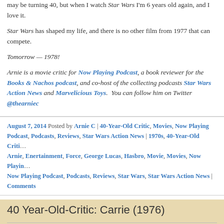may be turning 40, but when I watch Star Wars I'm 6 years old again, and I love it.
Star Wars has shaped my life, and there is no other film from 1977 that can compete.
Tomorrow — 1978!
Arnie is a movie critic for Now Playing Podcast, a book reviewer for the Books & Nachos podcast, and co-host of the collecting podcasts Star Wars Action News and Marvelicious Toys. You can follow him on Twitter @thearniec
August 7, 2014 Posted by Arnie C | 40-Year-Old Critic, Movies, Now Playing Podcast, Podcasts, Reviews, Star Wars Action News | 1970s, 40-Year-Old Critic, Arnie, Enertainment, Force, George Lucas, Hasbro, Movie, Movies, Now Playing, Now Playing Podcast, Podcasts, Reviews, Star Wars, Star Wars Action News | Comments
40 Year-Old-Critic: Carrie (1976)
In The 40-Year-Old Critic, Venganza Media creator and host Arnie Carvalho recalls a memorable film for each year of his life. This series
[Figure (photo): Movie poster or promotional image for Carrie (1976) with orange text on black background reading IF YOU'VE GOT A TASTE FOR TERROR... TAKE CARRIE TO THE PROM, with smaller images below]